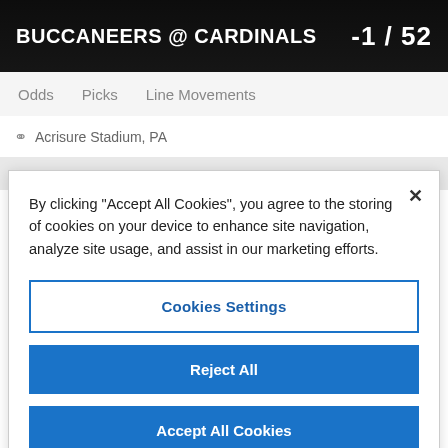BUCCANEERS @ CARDINALS  -1 / 52
Odds   Picks   Line Movements
Acrisure Stadium, PA
By clicking "Accept All Cookies", you agree to the storing of cookies on your device to enhance site navigation, analyze site usage, and assist in our marketing efforts.
Cookies Settings
Reject All
Accept All Cookies